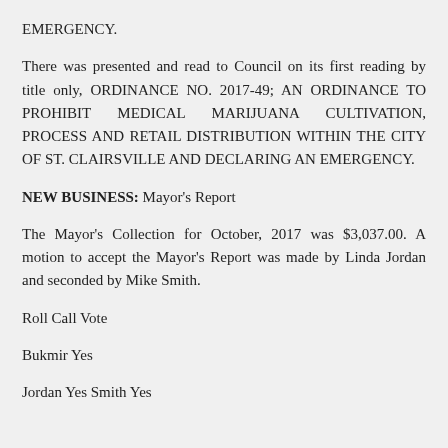EMERGENCY.
There was presented and read to Council on its first reading by title only, ORDINANCE NO. 2017-49; AN ORDINANCE TO PROHIBIT MEDICAL MARIJUANA CULTIVATION, PROCESS AND RETAIL DISTRIBUTION WITHIN THE CITY OF ST. CLAIRSVILLE AND DECLARING AN EMERGENCY.
NEW BUSINESS: Mayor's Report
The Mayor's Collection for October, 2017 was $3,037.00. A motion to accept the Mayor's Report was made by Linda Jordan and seconded by Mike Smith.
Roll Call Vote
Bukmir Yes
Jordan Yes Smith Yes